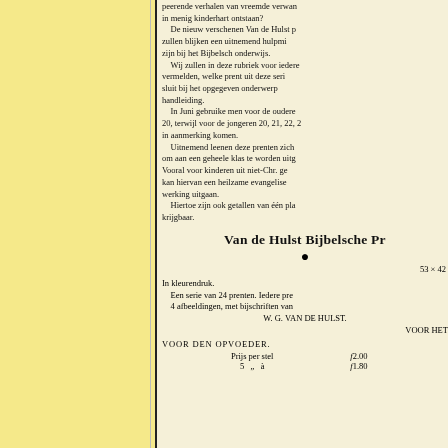peerende verhalen van vreemde verwantschappen in menig kinderhart ontstaan? De nieuw verschenen Van de Hulst prenten zullen blijken een uitnemend hulpmiddel te zijn bij het Bijbelsch onderwijs. Wij zullen in deze rubriek voor iedere maand vermelden, welke prent uit deze serie aansluit bij het opgegeven onderwerp en de handleiding. In Juni gebruike men voor de ouderen 19, 20, terwijl voor de jongeren 20, 21, 22, 23 in aanmerking komen. Uitnemend leenen deze prenten zich ook om aan een geheele klas te worden uitgedeeld. Vooral voor kinderen uit niet-Chr. gezinnen kan hiervan een heilzame evangeliseerende werking uitgaan. Hiertoe zijn ook getallen van één plaat verkrijgbaar.
Van de Hulst Bijbelsche Prenten
53 × 42
In kleurendruk.
Een serie van 24 prenten. Iedere prent bevat 4 afbeeldingen, met bijschriften van W. G. VAN DE HULST.
VOOR HET
VOOR DEN OPVOEDER.
| Prijs per stel | ƒ2.00 |
| 5  „  à | ƒ1.80 |